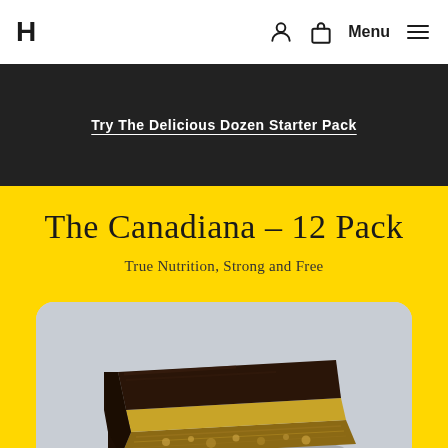H | Menu
Try The Delicious Dozen Starter Pack
The Canadiana – 12 Pack
True Nutrition, Strong and Free
[Figure (photo): A chocolate nanaimo bar square photographed on a light grey/blue background, showing dark chocolate top layer, custard middle layer, and graham cracker base with nuts.]